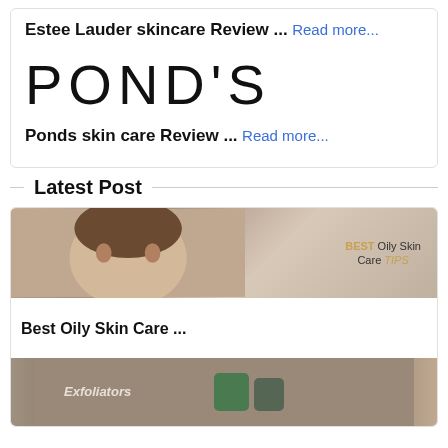Estee Lauder skincare Review ...
Read more...
[Figure (logo): POND'S brand logo in large black letters]
Ponds skin care Review ...
Read more...
Latest Post
[Figure (photo): Woman touching her face with text overlay: BEST Oily Skin Care TIPS]
Best Oily Skin Care ...
[Figure (photo): Exfoliators skincare product image with woman's face]